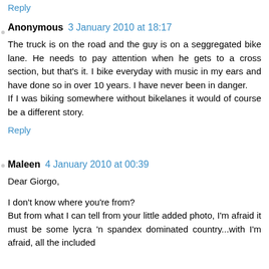Reply
Anonymous  3 January 2010 at 18:17
The truck is on the road and the guy is on a seggregated bike lane. He needs to pay attention when he gets to a cross section, but that's it. I bike everyday with music in my ears and have done so in over 10 years. I have never been in danger.
If I was biking somewhere without bikelanes it would of course be a different story.
Reply
Maleen  4 January 2010 at 00:39
Dear Giorgo,

I don't know where you're from?
But from what I can tell from your little added photo, I'm afraid it must be some lycra 'n spandex dominated country...with I'm afraid, all the included